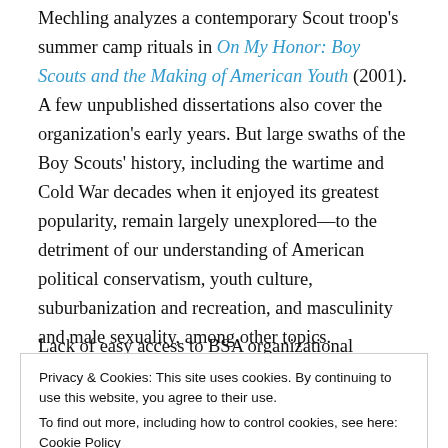Mechling analyzes a contemporary Scout troop's summer camp rituals in On My Honor: Boy Scouts and the Making of American Youth (2001). A few unpublished dissertations also cover the organization's early years. But large swaths of the Boy Scouts' history, including the wartime and Cold War decades when it enjoyed its greatest popularity, remain largely unexplored—to the detriment of our understanding of American political conservatism, youth culture, suburbanization and recreation, and masculinity and male sexuality, among other topics.
Lack of easy access to BSA organizational records is, of
Privacy & Cookies: This site uses cookies. By continuing to use this website, you agree to their use. To find out more, including how to control cookies, see here: Cookie Policy
examine to its holdings.) But the digital archive can